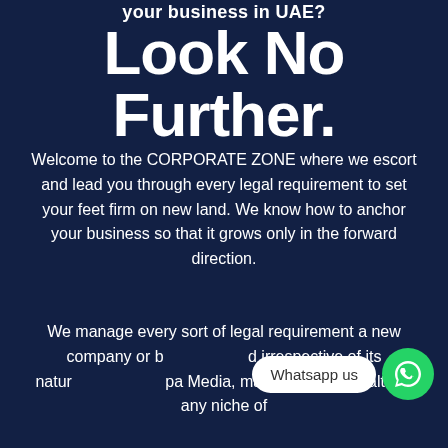your business in UAE?
Look No Further.
Welcome to the CORPORATE ZONE where we escort and lead you through every legal requirement to set your feet firm on new land. We know how to anchor your business so that it grows only in the forward direction.
We manage every sort of legal requirement a new company or business would need irrespective of its nature. Be it a company, Media, manufacturing, health or any niche of
[Figure (infographic): WhatsApp chat bubble with text 'Whatsapp us' and a green WhatsApp icon circle button]